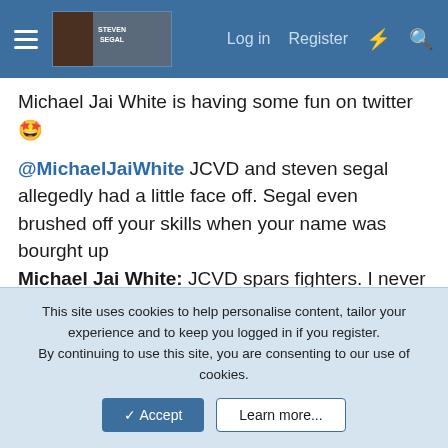Steven Segal forum navigation bar with Log in, Register, and icon buttons
Michael Jai White is having some fun on twitter 🤩
@MichaelJaiWhite JCVD and steven segal allegedly had a little face off. Segal even brushed off your skills when your name was bourght up
Michael Jai White: JCVD spars fighters. I never heard of SS sparring anyone. U can't do what U don't practice. I say JC wins easily.
@MichaelJaiWhite Segal's only opponent these days is the doctor's office scale.
Michael Jai White: He's fighting for the KFC and it looks like he's winning.
This site uses cookies to help personalise content, tailor your experience and to keep you logged in if you register.
By continuing to use this site, you are consenting to our use of cookies.